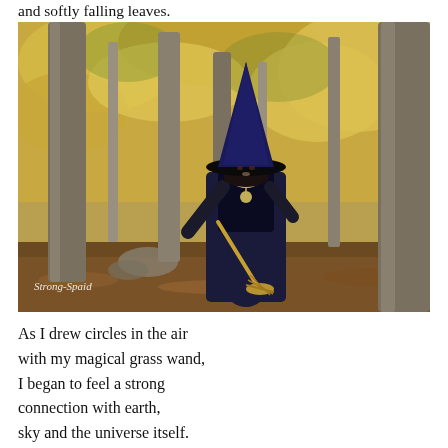and softly falling leaves.
[Figure (photo): A woman dressed in a witch costume — black long dress, wide-brimmed black hat with a tall blue pointed crown, holding a broom — standing in an autumn forest with yellow and orange leaves on the trees. Watermark reads 'Strong-Spaid' in the lower left corner.]
As I drew circles in the air
with my magical grass wand,
I began to feel a strong
connection with earth,
sky and the universe itself.